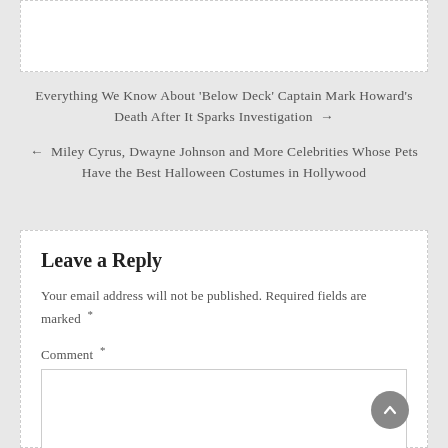[Figure (other): White rectangular box at the top of the page]
Everything We Know About ‘Below Deck’ Captain Mark Howard’s Death After It Sparks Investigation →
← Miley Cyrus, Dwayne Johnson and More Celebrities Whose Pets Have the Best Halloween Costumes in Hollywood
Leave a Reply
Your email address will not be published. Required fields are marked *
Comment *